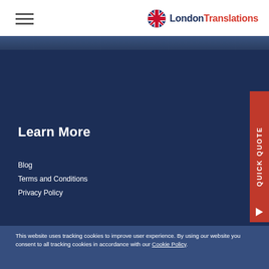London Translations
[Figure (illustration): Dark blue hero image strip at the top of the dark section]
Learn More
Blog
Terms and Conditions
Privacy Policy
QUICK QUOTE
This website uses tracking cookies to improve user experience. By using our website you consent to all tracking cookies in accordance with our Cookie Policy.